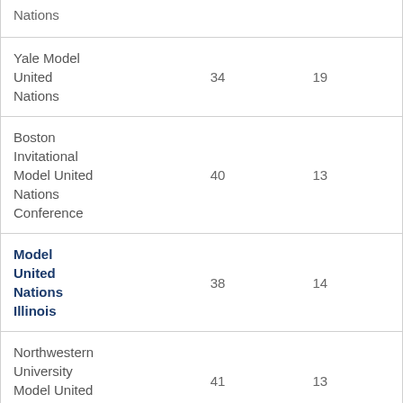| Nations |  |  |
| Yale Model United Nations | 34 | 19 |
| Boston Invitational Model United Nations Conference | 40 | 13 |
| Model United Nations Illinois | 38 | 14 |
| Northwestern University Model United Nations | 41 | 13 |